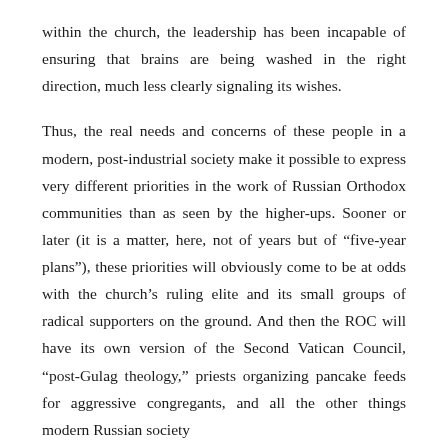within the church, the leadership has been incapable of ensuring that brains are being washed in the right direction, much less clearly signaling its wishes.
Thus, the real needs and concerns of these people in a modern, post-industrial society make it possible to express very different priorities in the work of Russian Orthodox communities than as seen by the higher-ups. Sooner or later (it is a matter, here, not of years but of “five-year plans”), these priorities will obviously come to be at odds with the church’s ruling elite and its small groups of radical supporters on the ground. And then the ROC will have its own version of the Second Vatican Council, “post-Gulag theology,” priests organizing pancake feeds for aggressive congregants, and all the other things modern Russian society